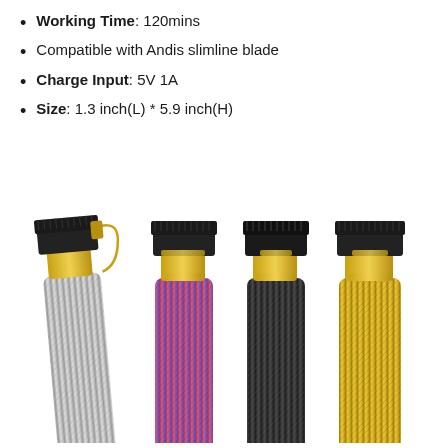Working Time: 120mins
Compatible with Andis slimline blade
Charge Input: 5V 1A
Size: 1.3 inch(L) * 5.9 inch(H)
[Figure (photo): Four hair trimmers side by side showing different color variants: silver/chrome, pink-to-purple gradient, black, and gold. Each trimmer has a T-blade at the top with gold accent connectors and a textured knurled handle body.]